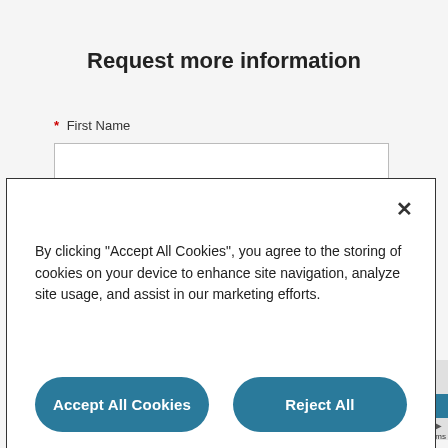Request more information
* First Name
[Figure (screenshot): Cookie consent modal dialog with close button (×), body text about cookie policy, two buttons 'Accept All Cookies' and 'Reject All', and a 'Cookies Settings' link.]